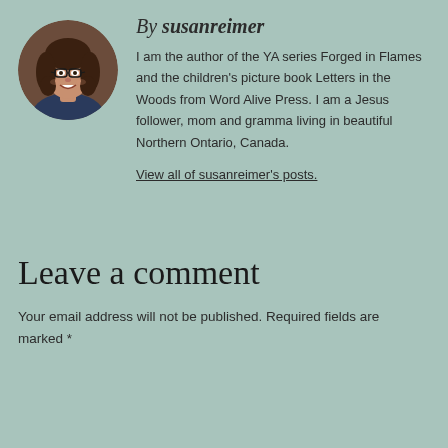[Figure (photo): Circular author photo of a woman with dark curly hair and glasses, smiling, wearing a dark blue shirt, brown background]
By susanreimer
I am the author of the YA series Forged in Flames and the children's picture book Letters in the Woods from Word Alive Press. I am a Jesus follower, mom and gramma living in beautiful Northern Ontario, Canada.
View all of susanreimer's posts.
Leave a comment
Your email address will not be published. Required fields are marked *